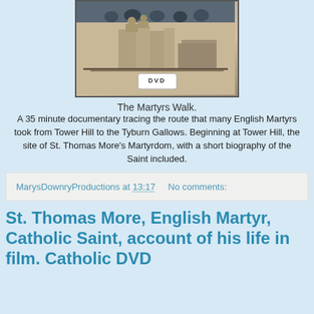[Figure (photo): DVD cover image showing a historical building (Tower of London) with crowd at top and DVD logo badge at bottom]
The Martyrs Walk.
A 35 minute documentary tracing the route that many English Martyrs took from Tower Hill to the Tyburn Gallows. Beginning at Tower Hill, the site of St. Thomas More's Martyrdom, with a short biography of the Saint included.
MarysDownryProductions at 13:17   No comments:
St. Thomas More, English Martyr, Catholic Saint, account of his life in film. Catholic DVD